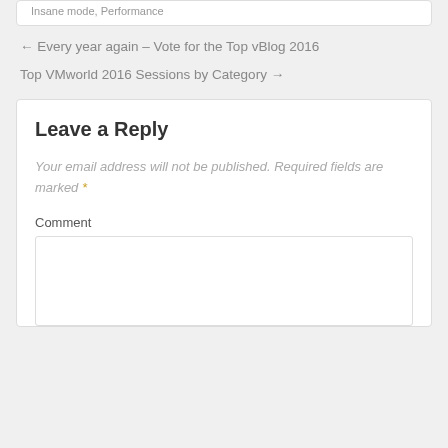Insane mode, Performance
← Every year again – Vote for the Top vBlog 2016
Top VMworld 2016 Sessions by Category →
Leave a Reply
Your email address will not be published. Required fields are marked *
Comment